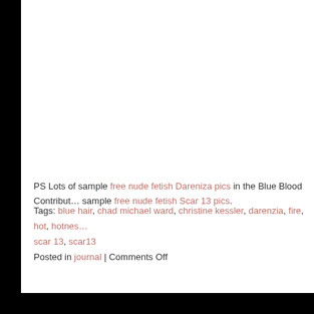PS Lots of sample free nude fetish Dareniza pics in the Blue Blood Contribut… sample free nude fetish Scar 13 pics.
Tags: blue hair, chad michael ward, christine kessler, darenzia, fire, hot, hotnes… scar 13, scar13
Posted in journal | Comments Off